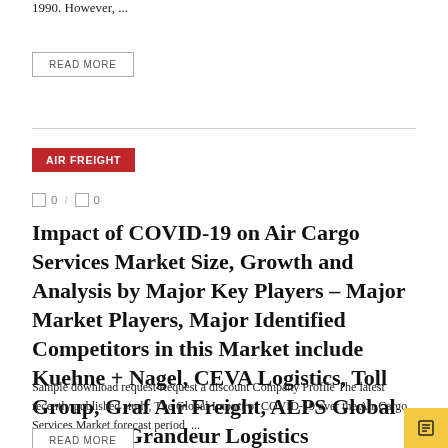1990. However, ...
READ MORE
AIR FREIGHT
0 / 0
Impact of COVID-19 on Air Cargo Services Market Size, Growth and Analysis by Major Key Players – Major Market Players, Major Identified Competitors in this Market include Kuehne + Nagel, CEVA Logistics, Toll Group, Graf Air Freight, ALPS Global Logistics, Grandeur Logistics
Sample download request Request a discount Company Profile The latest recently published study, The Global Impact of COVID-19 over the Air Cargo Services Market forecast period, ...
READ MORE